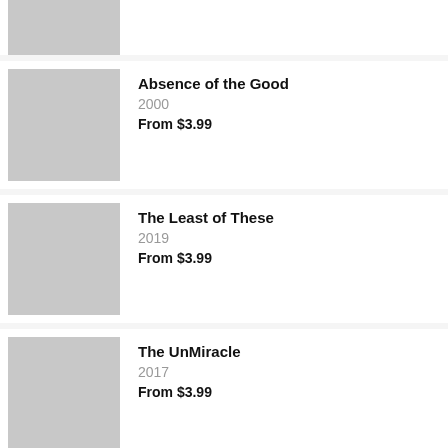(partial item, cropped at top)
Absence of the Good | 2000 | From $3.99
The Least of These | 2019 | From $3.99
The UnMiracle | 2017 | From $3.99
Midnight Clear | 2006 | From $3.99